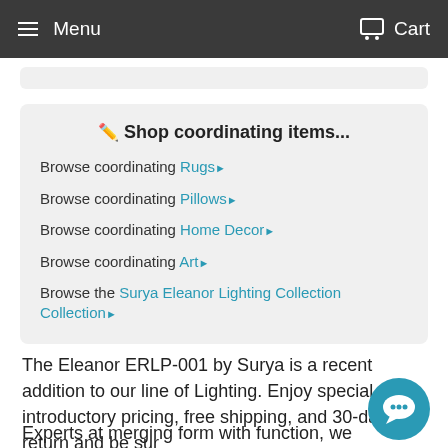Menu  Cart
✏️ Shop coordinating items...
Browse coordinating Rugs ▶
Browse coordinating Pillows ▶
Browse coordinating Home Decor ▶
Browse coordinating Art ▶
Browse the Surya Eleanor Lighting Collection Collection ▶
The Eleanor ERLP-001 by Surya is a recent addition to our line of Lighting. Enjoy special introductory pricing, free shipping, and 30-days to return and be sur
Experts at merging form with function, we translate the most relevant apparel and home decor trends into fashion-